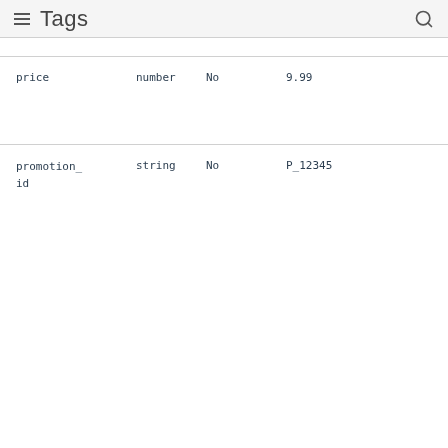Tags
| name | type | required | value |
| --- | --- | --- | --- |
| price | number | No | 9.99 |
| promotion_id | string | No | P_12345 |